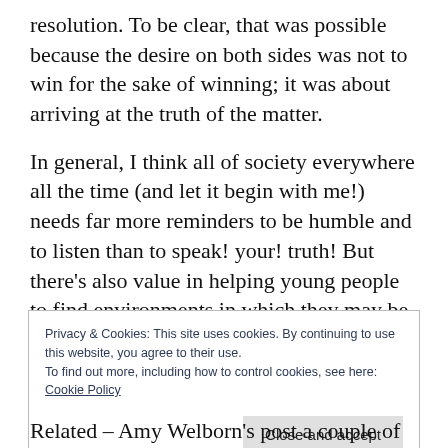resolution. To be clear, that was possible because the desire on both sides was not to win for the sake of winning; it was about arriving at the truth of the matter.
In general, I think all of society everywhere all the time (and let it begin with me!) needs far more reminders to be humble and to listen than to speak! your! truth! But there’s also value in helping young people to find environments in which they may be sharpened. A teenager who
Privacy & Cookies: This site uses cookies. By continuing to use this website, you agree to their use.
To find out more, including how to control cookies, see here: Cookie Policy
Close and accept
Related – Amy Welborn’s post a couple of weeks